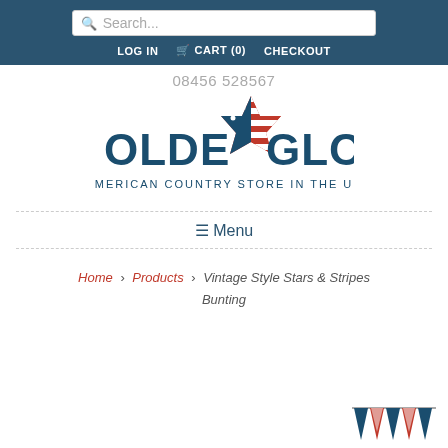Search... | LOG IN | CART (0) | CHECKOUT
08456 528567
[Figure (logo): Olde Glory - American Country Store in the UK logo with a star decorated with the US flag pattern]
☰ Menu
Home > Products > Vintage Style Stars & Stripes Bunting
[Figure (photo): Small thumbnail image of vintage style stars and stripes bunting pennants in red, white and navy colors]